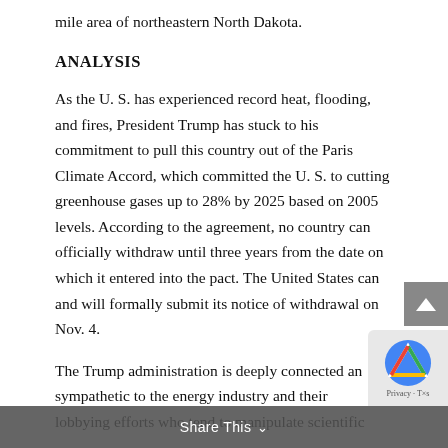mile area of northeastern North Dakota.
ANALYSIS
As the U. S. has experienced record heat, flooding, and fires, President Trump has stuck to his commitment to pull this country out of the Paris Climate Accord, which committed the U. S. to cutting greenhouse gases up to 28% by 2025 based on 2005 levels. According to the agreement, no country can officially withdraw until three years from the date on which it entered into the pact. The United States can and will formally submit its notice of withdrawal on Nov. 4.
The Trump administration is deeply connected and sympathetic to the energy industry and their lobbying efforts who tend to manipulate scientific